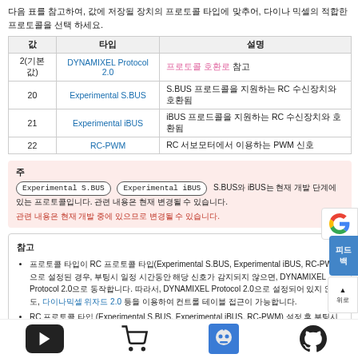다음 표를 참고하여, 값에 저장될 장치의 프로토콜 타입에 맞추어, 다이나 믹셀의 적합한 프로토콜을 선택 하세요.
| 값 | 타입 | 설명 |
| --- | --- | --- |
| 2(기본값) | DYNAMIXEL Protocol 2.0 | 프로토콜 호환로 참고 |
| 20 | Experimental S.BUS | S.BUS 프로드콜을 지원하는 RC 수신장치와 호환됨 |
| 21 | Experimental iBUS | iBUS 프로드콜을 지원하는 RC 수신장치와 호환됨 |
| 22 | RC-PWM | RC 서보모터에서 이용하는 PWM 신호 |
주의: Experimental S.BUS, Experimental iBUS — S.BUS와 iBUS는 현재 개발 단계에 있는 프로토콜입니다. 관련 내용은 현재 개발 중에 있으므로 변경될 수 있습니다.
참고
프로토콜 타입이 RC 프로토콜 타입(Experimental S.BUS, Experimental iBUS, RC-PWM)으로 설정된 경우, 부팅시 일정 시간동안 해당 신호가 감지되지 않으면, DYNAMIXEL Protocol 2.0으로 동작합니다. 따라서, DYNAMIXEL Protocol 2.0으로 설정되어 있지 않아도, 다이나믹셀 위자드 2.0 등을 이용하여 컨트롤 테이블 접근이 가능합니다.
RC 프로토콜 타입 (Experimental S.BUS, Experimental iBUS, RC-PWM) 설정 후 부팅시 해당하는 프로토콜이 감지되면 RC 모드로 동작되며 자동으로 Torque On 상태가 됩니다.
2. 4. 9. 1. DYNAMIXEL Protocol 2.0
다이나믹셀간의 데이터 통신을 위한 기본적인 통신 프로토콜 입니다.
자세한 내용은 다이나믹셀 프로토콜 2.0을 참고하세요.
2. 4. 9. 2. Experimental S.BUS 🔗